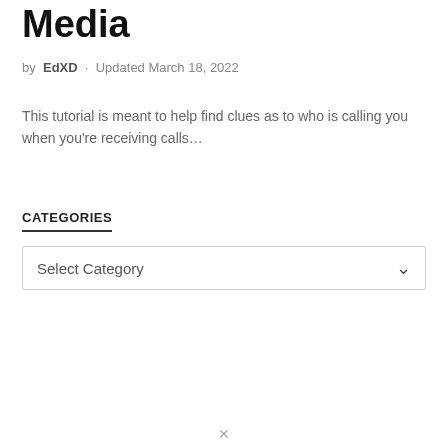Media
by EdXD · Updated March 18, 2022
This tutorial is meant to help find clues as to who is calling you when you're receiving calls…
CATEGORIES
Select Category